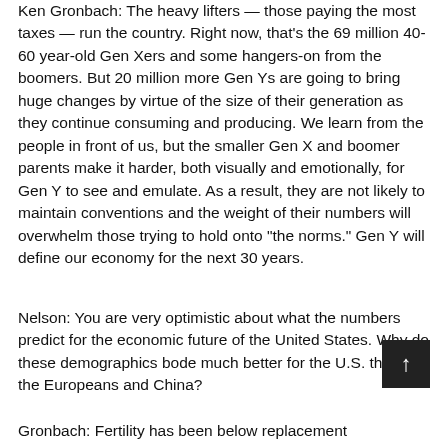Ken Gronbach: The heavy lifters — those paying the most taxes — run the country. Right now, that's the 69 million 40-60 year-old Gen Xers and some hangers-on from the boomers. But 20 million more Gen Ys are going to bring huge changes by virtue of the size of their generation as they continue consuming and producing. We learn from the people in front of us, but the smaller Gen X and boomer parents make it harder, both visually and emotionally, for Gen Y to see and emulate. As a result, they are not likely to maintain conventions and the weight of their numbers will overwhelm those trying to hold onto "the norms." Gen Y will define our economy for the next 30 years.
Nelson: You are very optimistic about what the numbers predict for the economic future of the United States. Why do these demographics bode much better for the U.S. than for the Europeans and China?
Gronbach: Fertility has been below replacement